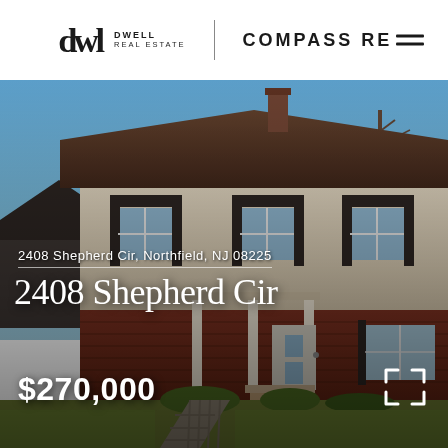dwd DWELL REAL ESTATE | COMPASS RE
[Figure (photo): Exterior photo of a two-story colonial-style home at 2408 Shepherd Cir, Northfield, NJ 08225. The house has beige/cream upper siding with black shutters and brick lower facade, white front porch columns, and a brick paved walkway leading to the front door. Clear blue sky in background.]
2408 Shepherd Cir, Northfield, NJ 08225
2408 Shepherd Cir
$270,000